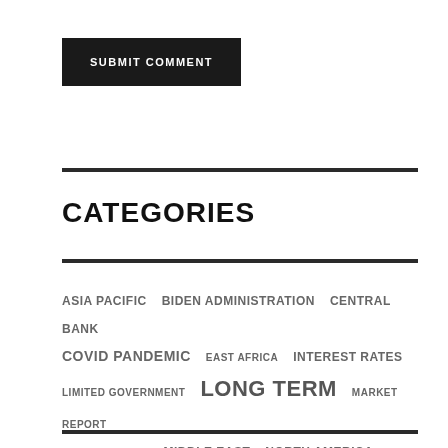SUBMIT COMMENT
CATEGORIES
ASIA PACIFIC
BIDEN ADMINISTRATION
CENTRAL BANK
COVID PANDEMIC
EAST AFRICA
INTEREST RATES
LIMITED GOVERNMENT
LONG TERM
MARKET REPORT
MARKET SHARE
MIDDLE EAST
NORTH AMERICA
REAL ESTATE
SHORT TERM
UNITED STATES